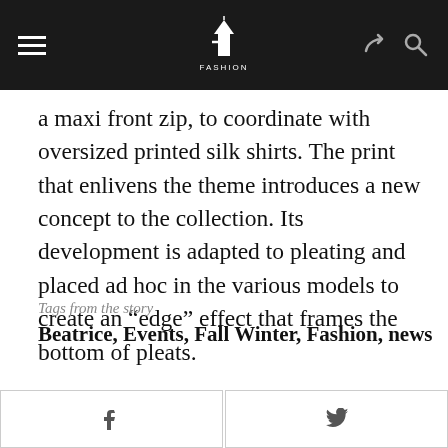Fashion (logo/navigation header)
a maxi front zip, to coordinate with oversized printed silk shirts. The print that enlivens the theme introduces a new concept to the collection. Its development is adapted to pleating and placed ad hoc in the various models to create an “edge” effect that frames the bottom of pleats.
Tags from the story
Beatrice, Events, Fall Winter, Fashion, news